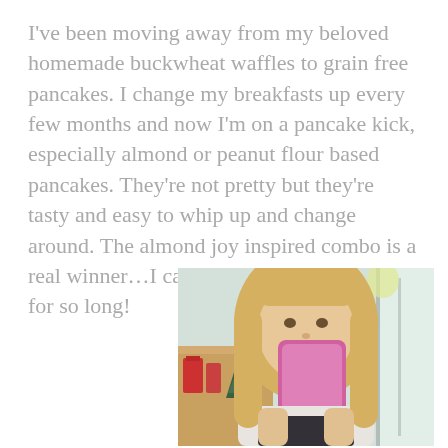I've been moving away from my beloved homemade buckwheat waffles to grain free pancakes. I change my breakfasts up every few months and now I'm on a pancake kick, especially almond or peanut flour based pancakes. They're not pretty but they're tasty and easy to whip up and change around. The almond joy inspired combo is a real winner…I can't believe I hated coconut for so long!
[Figure (photo): A young blonde woman taking a mirror selfie with a pink phone case, wearing a white and dark top. Behind her is a small Christmas tree and wooden shelf with items on it, and a window with light.]